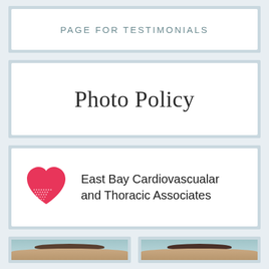PAGE FOR TESTIMONIALS
Photo Policy
[Figure (logo): East Bay Cardiovascualar and Thoracic Associates logo with pink heart icon]
[Figure (photo): Person photo (left), partially visible, cropped]
[Figure (photo): Person photo (right), partially visible, cropped]